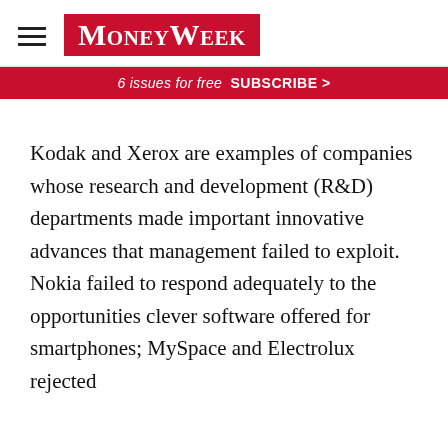MoneyWeek
6 issues for free  SUBSCRIBE >
Kodak and Xerox are examples of companies whose research and development (R&D) departments made important innovative advances that management failed to exploit. Nokia failed to respond adequately to the opportunities clever software offered for smartphones; MySpace and Electrolux rejected